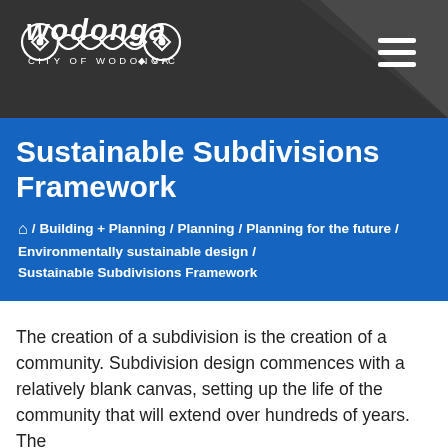[Figure (logo): City of Wodonga VIC logo in white on dark grey header background with hamburger menu icon]
Sustainable Subdivisions Framework
⌂ / Building + Planning / Planning / Planning for the future / Environmentally sustainable design / Sustainable Subdivisions Framework
The creation of a subdivision is the creation of a community. Subdivision design commences with a relatively blank canvas, setting up the life of the community that will extend over hundreds of years. The